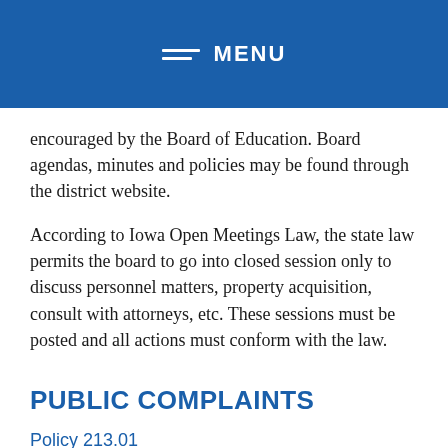MENU
encouraged by the Board of Education. Board agendas, minutes and policies may be found through the district website.
According to Iowa Open Meetings Law, the state law permits the board to go into closed session only to discuss personnel matters, property acquisition, consult with attorneys, etc. These sessions must be posted and all actions must conform with the law.
PUBLIC COMPLAINTS
Policy 213.01